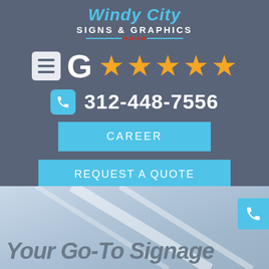Windy City Signs & Graphics
[Figure (infographic): Google review icons: hamburger menu icon, Google G logo, and five gold stars indicating a 5-star rating]
312-448-7556
CAREER
REQUEST A QUOTE
Your Go-To Signage
[Figure (photo): Background photo showing diagonal structural lines against a light sky, with a floating phone icon in the bottom right corner]